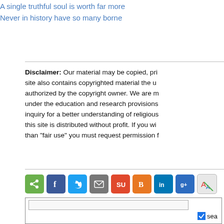A single truthful soul is worth far more... Never in history have so many borne...
Disclaimer: Our material may be copied, pri... site also contains copyrighted material the us... authorized by the copyright owner. We are m... under the education and research provisions... inquiry for a better understanding of religious... this site is distributed without profit. If you wi... than "fair use" you must request permission f...
[Figure (infographic): Row of social sharing icon buttons: sharethis (green), facebook (blue), twitter (light blue), email (grey), stumbleupon (red), blogger (orange), linkedin (dark blue), google+ (dark blue), and a translate/other icon.]
[Figure (screenshot): Search box with text input field and a checkbox labeled 'sea...' (search)]